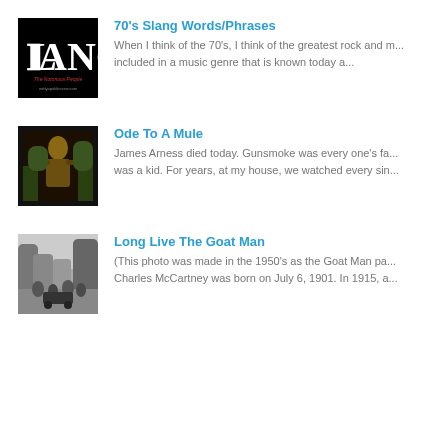[Figure (photo): Thumbnail image with LANG logo - The Notorious People music related image]
70's Slang Words/Phrases
When I think of the 70's, I think of the greatest rock and m... included in a music genre that is known today a...
[Figure (photo): Thumbnail of western scene - Ode To A Mule post image]
Ode To A Mule
James Arness died today. Gunsmoke was every one's fa... was a kid. For years, at my house, we watched every sin...
[Figure (photo): Black and white vintage photo from 1950s - Long Live The Goat Man post image]
Long Live The Goat Man
(This photo was made in the 1950's as the Goat Man pa... Charles McCartney was born on July 6, 1901. In 1915, a...